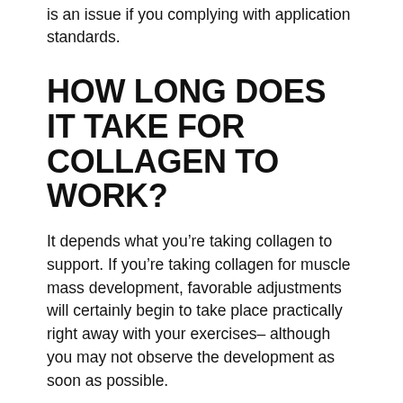is an issue if you complying with application standards.
HOW LONG DOES IT TAKE FOR COLLAGEN TO WORK?
It depends what you’re taking collagen to support. If you’re taking collagen for muscle mass development, favorable adjustments will certainly begin to take place practically right away with your exercises– although you may not observe the development as soon as possible.
In studies considering collagen supplements for joint discomfort as well as skin flexibility, individuals experience changes noticeable